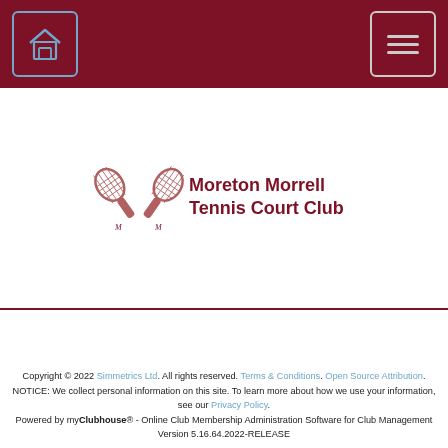Moreton Morrell Tennis Court Club - navigation header
[Figure (logo): Moreton Morrell Tennis Court Club logo with crossed tennis rackets and club name]
Copyright © 2022 Simmetrics Ltd. All rights reserved. Terms & Conditions. Open Source Attribution. NOTICE: We collect personal information on this site. To learn more about how we use your information, see our Privacy Policy. Powered by myClubhouse® - Online Club Membership Administration Software for Club Management Version 5.16.64.2022-RELEASE